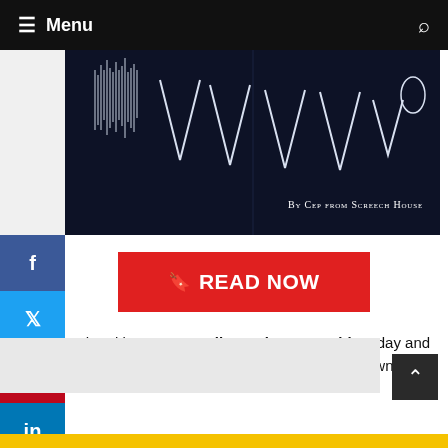Menu
[Figure (screenshot): Dark blue background with audio waveform visualization showing spikes and inverted V shapes in white/light blue. Text reads 'By Cep from Screech House' in small-caps white at bottom right.]
[Figure (other): READ NOW button in red with bookmark icon]
et the ultimate FL Studio Beginner's Guide today and learn exactly how you can start to make your own music in FL Studio.